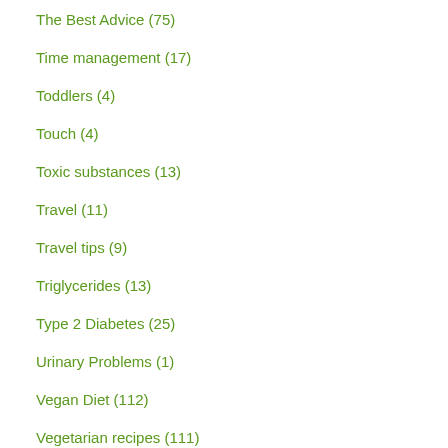The Best Advice (75)
Time management (17)
Toddlers (4)
Touch (4)
Toxic substances (13)
Travel (11)
Travel tips (9)
Triglycerides (13)
Type 2 Diabetes (25)
Urinary Problems (1)
Vegan Diet (112)
Vegetarian recipes (111)
Vitamin A (3)
Vitamin B12 (6)
Vitamin D (22)
Vitamin E (1)
Vitamin K (3)
Vitamins (17)
Re... Pl...
1. My Exp with the Me Die...
2. Wh I Lea fro the Dr. Ca & Ani Ess "Pr & ...